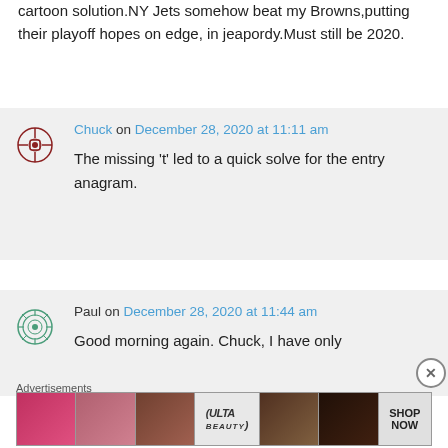cartoon solution.NY Jets somehow beat my Browns,putting their playoff hopes on edge, in jeapordy.Must still be 2020.
Chuck on December 28, 2020 at 11:11 am
The missing ‘t’ led to a quick solve for the entry anagram.
Paul on December 28, 2020 at 11:44 am
Good morning again. Chuck, I have only
Advertisements
[Figure (other): ULTA beauty advertisement banner with makeup photos and SHOP NOW button]